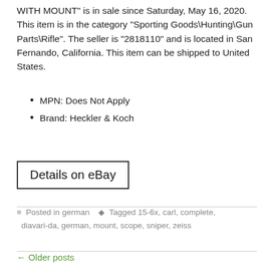WITH MOUNT" is in sale since Saturday, May 16, 2020. This item is in the category "Sporting Goods\Hunting\Gun Parts\Rifle". The seller is "2818110" and is located in San Fernando, California. This item can be shipped to United States.
MPN: Does Not Apply
Brand: Heckler & Koch
Details on eBay
Posted in german   Tagged 15-6x, carl, complete, diavari-da, german, mount, scope, sniper, zeiss
← Older posts